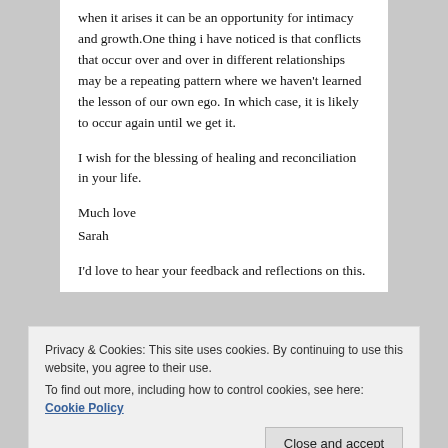when it arises it can be an opportunity for intimacy and growth.One thing i have noticed is that conflicts that occur over and over in different relationships may be a repeating pattern where we haven't learned the lesson of our own ego. In which case, it is likely to occur again until we get it.
I wish for the blessing of healing and reconciliation in your life.
Much love
Sarah
I'd love to hear your feedback and reflections on this.
Privacy & Cookies: This site uses cookies. By continuing to use this website, you agree to their use.
To find out more, including how to control cookies, see here: Cookie Policy
Close and accept
Loading...